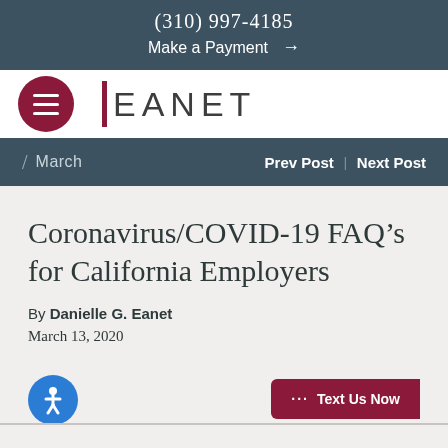(310) 997-4185
Make a Payment →
[Figure (logo): EANET law firm logo with dark red vertical bar accent and hamburger menu button]
/ March   Prev Post | Next Post
Coronavirus/COVID-19 FAQ's for California Employers
By Danielle G. Eanet
March 13, 2020
[Figure (illustration): Blue accessibility icon circle with person symbol]
··· Text Us Now